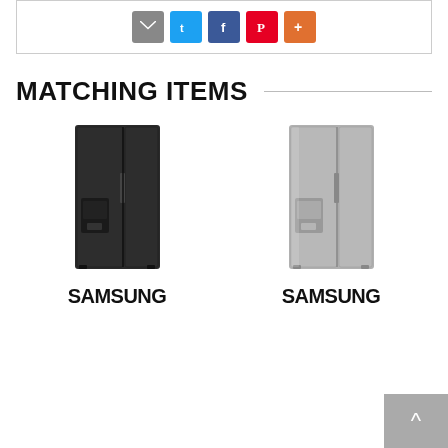[Figure (screenshot): Social sharing buttons: email (grey), Twitter (blue), Facebook (dark blue), Pinterest (red), More (orange)]
MATCHING ITEMS
[Figure (photo): Black Samsung side-by-side refrigerator with water/ice dispenser on left door]
[Figure (photo): Silver/stainless Samsung side-by-side refrigerator with water/ice dispenser on left door]
SAMSUNG
SAMSUNG